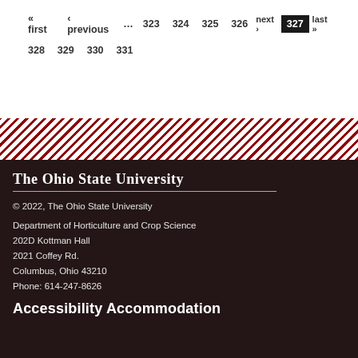« first  ‹ previous  ...  323  324  325  326  next ›  327 (current)  last »
328  329  330  331
[Figure (illustration): Diagonal red and white stripe decorative band]
The Ohio State University
© 2022, The Ohio State University
Department of Horticulture and Crop Science
202D Kottman Hall
2021 Coffey Rd.
Columbus, Ohio 43210
Phone: 614-247-8626
Accessibility Accommodation